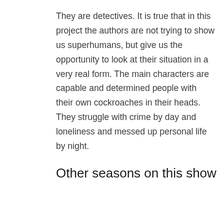They are detectives. It is true that in this project the authors are not trying to show us superhumans, but give us the opportunity to look at their situation in a very real form. The main characters are capable and determined people with their own cockroaches in their heads. They struggle with crime by day and loneliness and messed up personal life by night.
Other seasons on this show